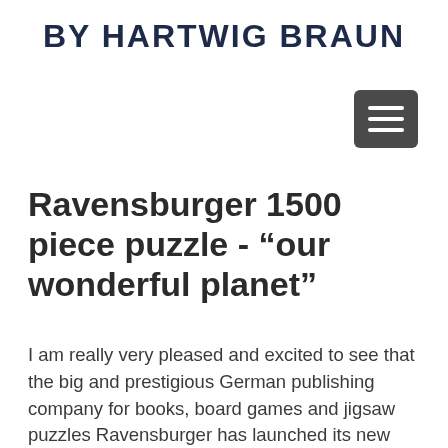BY HARTWIG BRAUN
[Figure (other): Hamburger menu icon — three horizontal white lines on a dark grey rounded rectangle background]
Ravensburger 1500 piece puzzle - “our wonderful planet”
I am really very pleased and excited to see that the big and prestigious German publishing company for books, board games and jigsaw puzzles Ravensburger has launched its new 1500 piece puzzle with my illustrated map of the world under the title “colourful earth” in German